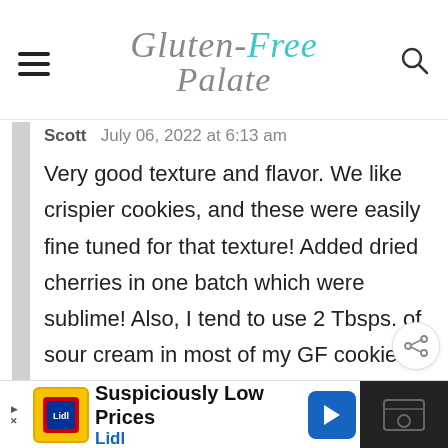Gluten-Free Palate
Scott   July 06, 2022 at 6:13 am
Very good texture and flavor. We like crispier cookies, and these were easily fine tuned for that texture! Added dried cherries in one batch which were sublime! Also, I tend to use 2 Tbsps. of sour cream in most of my GF cookie recipes...worked well
[Figure (other): Advertisement banner: Lidl - Suspiciously Low Prices]
[Figure (other): Share button icon]